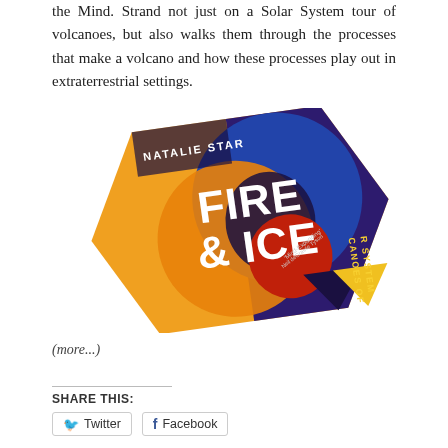the Mind. Strand not just on a Solar System tour of volcanoes, but also walks them through the processes that make a volcano and how these processes play out in extraterrestrial settings.
[Figure (illustration): Book cover of 'Fire & Ice: Volcanoes of our Solar System' by Natalie Starr. Hexagonal shaped cover with geometric overlapping circles in blue, orange, red and dark colors. Large white text reads 'FIRE & ICE' with '& ' in yellow. Subtitle text on right reads 'CANOES OF R SYSTEM'. Author name 'NATALIE STAR' at top left in dark background. A quote reads 'Mind-Expanding' Neil deGrasse Tyson.]
(more...)
SHARE THIS:
Twitter   Facebook